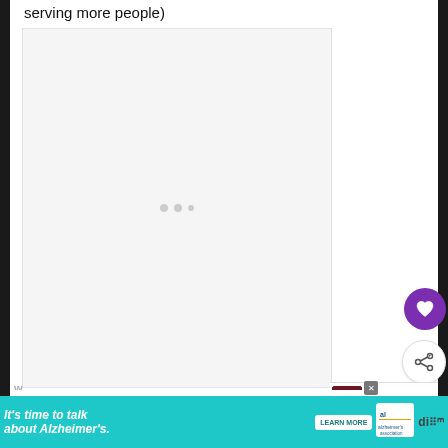serving more people)
[Figure (other): Advertisement placeholder area with three small dots in the center]
[Figure (other): Heart/favorite button (purple circle with white heart icon)]
[Figure (other): Share button (white circle with share icon)]
[Figure (other): What's Next bar showing Cranberry Sauce with... thumbnail and text]
Notes
[Figure (other): Advertisement banner: It's time to talk about Alzheimer's. LEARN MORE. Alzheimer's Association logo.]